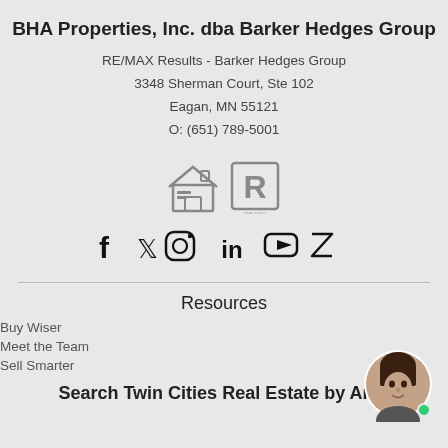BHA Properties, Inc. dba Barker Hedges Group
RE/MAX Results - Barker Hedges Group
3348 Sherman Court, Ste 102
Eagan, MN 55121
O: (651) 789-5001
[Figure (logo): Equal Housing Opportunity and Realtor logos]
[Figure (infographic): Social media icons: Facebook, Twitter, Instagram, LinkedIn, YouTube, Zillow]
Resources
Buy Wiser
Meet the Team
Sell Smarter
Search Twin Cities Real Estate by Area
[Figure (photo): Circular avatar photo of a woman with dark hair, with a green online status dot]